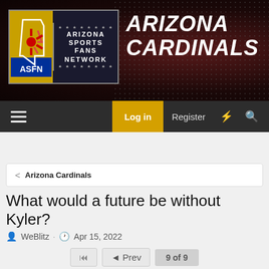[Figure (screenshot): Arizona Sports Fans Network website header with ASFN logo on left and 'ARIZONA CARDINALS' text on right, dark red dotted background]
Log in  Register
< Arizona Cardinals
What would a future be without Kyler?
WeBlitz · Apr 15, 2022
Prev  9 of 9
Jun 29, 2022  #2